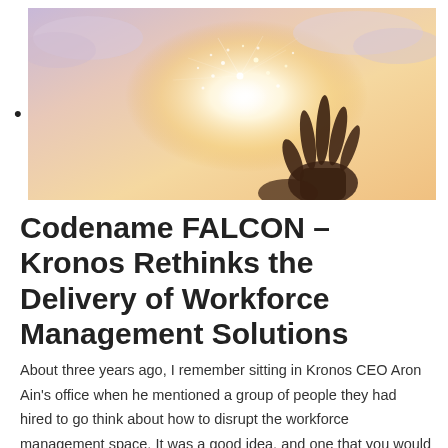[Figure (photo): A hand silhouetted against a warm glowing sky with sparkling light particles emanating from the palm, suggesting magic or inspiration.]
Codename FALCON – Kronos Rethinks the Delivery of Workforce Management Solutions
About three years ago, I remember sitting in Kronos CEO Aron Ain's office when he mentioned a group of people they had hired to go think about how to disrupt the workforce management space. It was a good idea, and one that you would hear from CEOs […]